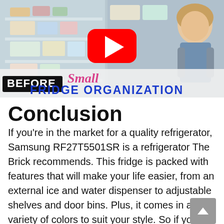[Figure (screenshot): YouTube video thumbnail for 'Small Fridge Organization' showing an open refrigerator with organized shelves, a woman standing next to it, a YouTube play button overlay in the center, cursive text 'Small' and bold text 'FRIDGE ORGANIZATION', and a 'BEFORE' label in the lower left.]
Conclusion
If you're in the market for a quality refrigerator, Samsung RF27T5501SR is a refrigerator The Brick recommends. This fridge is packed with features that will make your life easier, from an external ice and water dispenser to adjustable shelves and door bins. Plus, it comes in a variety of colors to suit your style. So if you're looking for a